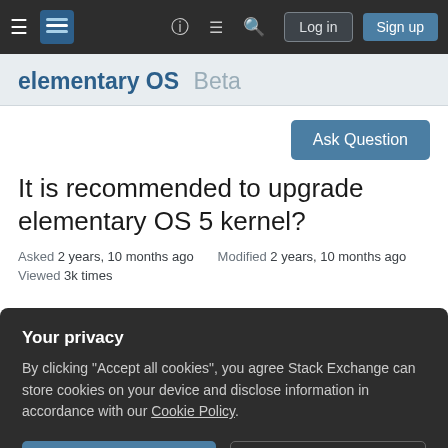elementary OS  Beta — Stack Exchange navigation bar with Log in and Sign up buttons
elementary OS  Beta
[Figure (other): Ask Question button (blue)]
It is recommended to upgrade elementary OS 5 kernel?
Asked 2 years, 10 months ago   Modified 2 years, 10 months ago
Viewed 3k times
Your privacy
By clicking "Accept all cookies", you agree Stack Exchange can store cookies on your device and disclose information in accordance with our Cookie Policy.
[Accept all cookies] [Customize settings]
that may be because of hardware compatibility but I